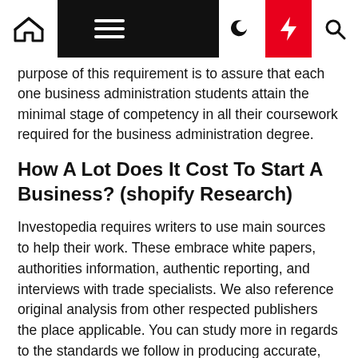Navigation bar with home, menu, dark mode, bolt, and search icons
purpose of this requirement is to assure that each one business administration students attain the minimal stage of competency in all their coursework required for the business administration degree.
How A Lot Does It Cost To Start A Business? (shopify Research)
Investopedia requires writers to use main sources to help their work. These embrace white papers, authorities information, authentic reporting, and interviews with trade specialists. We also reference original analysis from other respected publishers the place applicable. You can study more in regards to the standards we follow in producing accurate, unbiased content material in oureditorial policy Finance. Degrees in both business administration and finance – especially superior degrees – will often